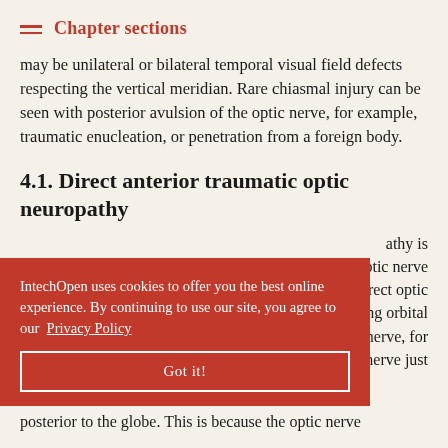Chapter sections
may be unilateral or bilateral temporal visual field defects respecting the vertical meridian. Rare chiasmal injury can be seen with posterior avulsion of the optic nerve, for example, traumatic enucleation, or penetration from a foreign body.
4.1. Direct anterior traumatic optic neuropathy
athy is e optic nerve r direct optic rating orbital nerve, for nerve just posterior to the globe. This is because the optic nerve
IntechOpen uses cookies to offer you the best online experience. By continuing to use our site, you agree to our Privacy Policy
Got it!